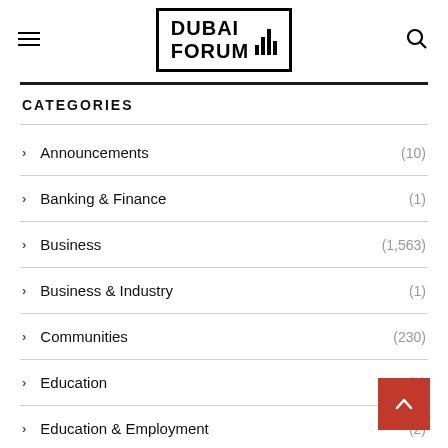DUBAI FORUM
CATEGORIES
Announcements (10)
Banking & Finance (1)
Business (1,563)
Business & Industry (1)
Communities (230)
Education (8)
Education & Employment (2)